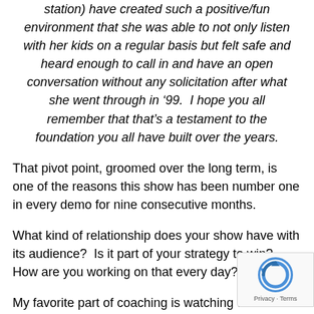station) have created such a positive/fun environment that she was able to not only listen with her kids on a regular basis but felt safe and heard enough to call in and have an open conversation without any solicitation after what she went through in '99.  I hope you all remember that that's a testament to the foundation you all have built over the years.
That pivot point, groomed over the long term, is one of the reasons this show has been number one in every demo for nine consecutive months.
What kind of relationship does your show have with its audience?  Is it part of your strategy to win?  How are you working on that every day?
My favorite part of coaching is watching talent